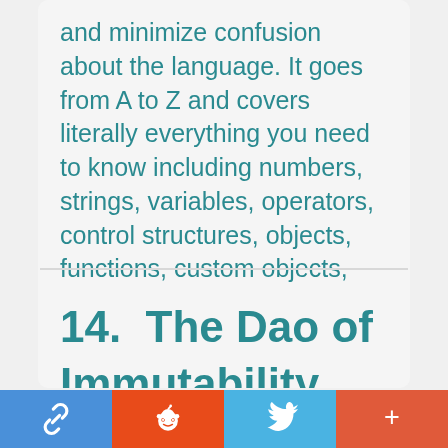and minimize confusion about the language. It goes from A to Z and covers literally everything you need to know including numbers, strings, variables, operators, control structures, objects, functions, custom objects, closures, and memory leaks.
14.  The Dao of Immutability
[Figure (other): Social share bar with four buttons: link/chain icon (blue), Reddit alien icon (orange-red), Twitter bird icon (light blue), plus/more icon (red-orange)]